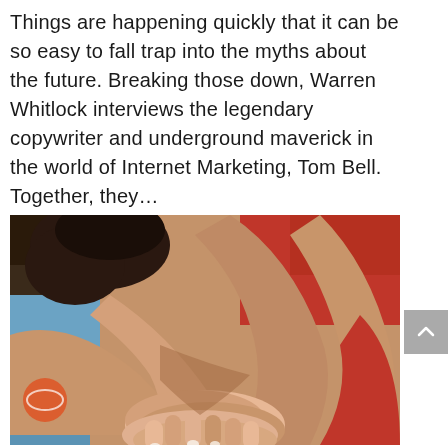Things are happening quickly that it can be so easy to fall trap into the myths about the future. Breaking those down, Warren Whitlock interviews the legendary copywriter and underground maverick in the world of Internet Marketing, Tom Bell. Together, they…
[Figure (photo): A group of people putting their hands together in a team huddle, showing arms and hands stacked on top of each other. People are wearing red and blue clothing.]